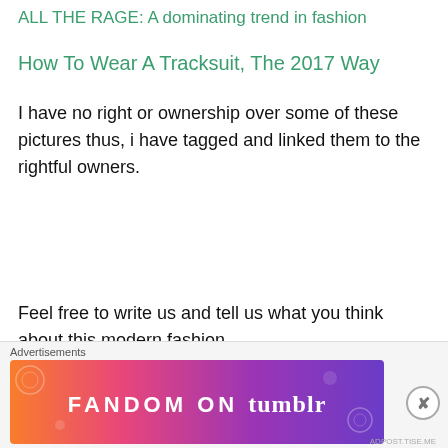ALL THE RAGE: A dominating trend in fashion
How To Wear A Tracksuit, The 2017 Way
I have no right or ownership over some of these pictures thus, i have tagged and linked them to the rightful owners.
Feel free to write us and tell us what you think about this modern fashion.
Advertisements
[Figure (other): Partially visible advertisement banner with bold serif text]
Advertisements
[Figure (other): Fandom on Tumblr colorful gradient advertisement banner with orange, pink, and purple gradient background and white text reading FANDOM ON tumblr]